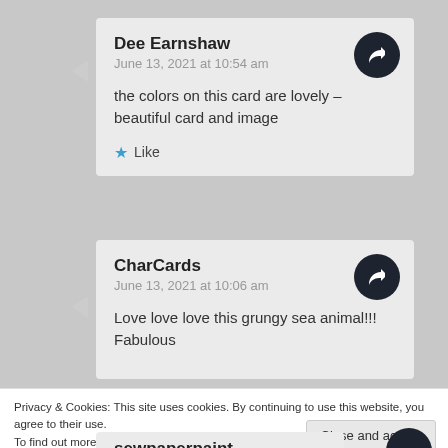Dee Earnshaw
June 13, 2021 at 10:54 am
the colors on this card are lovely – beautiful card and image
Like
CharCards
June 13, 2021 at 10:06 am
Love love love this grungy sea animal!!! Fabulous
Privacy & Cookies: This site uses cookies. By continuing to use this website, you agree to their use.
To find out more, including how to control cookies, see here: Cookie Policy
Close and accept
sewpaperpaint